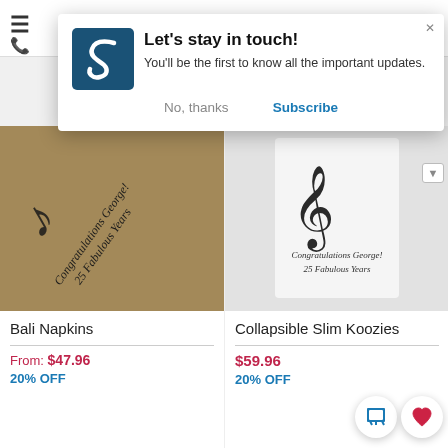[Figure (screenshot): Navigation bar with hamburger menu icon and phone icon]
[Figure (screenshot): Modal popup: Let's stay in touch! with S logo, subscribe/no thanks buttons]
Let's stay in touch!
You'll be the first to know all the important updates.
No, thanks
Subscribe
[Figure (photo): Bali napkin product image with treble clef and text Congratulations George! 25 Fabulous Years on tan textured surface]
Bali Napkins
From: $47.96
20% OFF
[Figure (photo): Collapsible Slim Koozies product image with treble clef and text Congratulations George! 25 Fabulous Years on gray background]
Collapsible Slim Koozies
$59.96
20% OFF